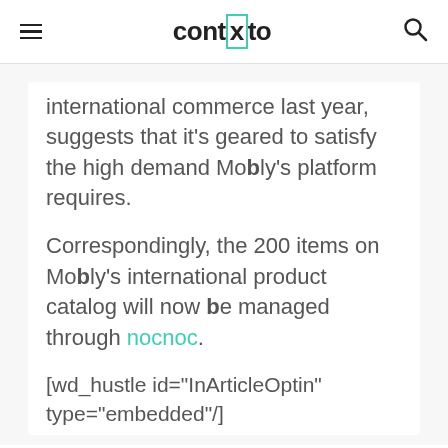contxto
international commerce last year, suggests that it’s geared to satisfy the high demand Mobly’s platform requires.
Correspondingly, the 200 items on Mobly’s international product catalog will now be managed through nocnoc.
[wd_hustle id="InArticleOptin" type="embedded"/]